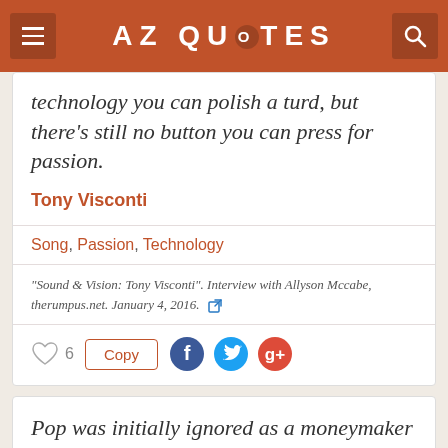AZ QUOTES
technology you can polish a turd, but there's still no button you can press for passion.
Tony Visconti
Song, Passion, Technology
"Sound & Vision: Tony Visconti". Interview with Allyson Mccabe, therumpus.net. January 4, 2016.
Pop was initially ignored as a moneymaker by the recording industry. In the seventies they were still relying on Frank Sinatra and Tony